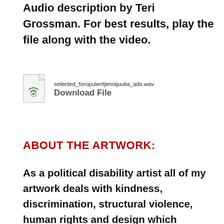Audio description by Teri Grossman. For best results, play the file along with the video.
[Figure (other): File download icon for a WAV audio file]
selected_foropulentjennijuulia_ads.wav
Download File
ABOUT THE ARTWORK:
As a political disability artist all of my artwork deals with kindness, discrimination, structural violence, human rights and design which maintains the low status of disability. I'm especially intrigued by the culture of "aboriginal" persons with disabilities; people who are born with their piquant features. I come from a family which has a history of four